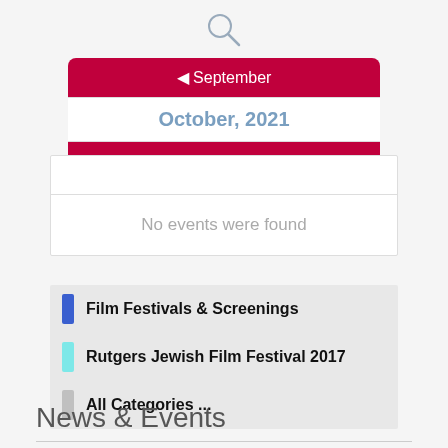[Figure (other): Search icon (magnifying glass) at top center]
[Figure (other): Month navigation widget showing September (prev), October 2021 (current), November (next) in red/white bar style]
No events were found
Film Festivals & Screenings
Rutgers Jewish Film Festival 2017
All Categories ...
News & Events